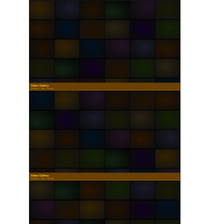[Figure (screenshot): Video thumbnail grid panel 1 - dark themed video gallery with 6 columns and 6 rows of video thumbnails]
[Figure (screenshot): Video thumbnail grid panel 2 - dark themed video gallery with brown header bar, 6 columns and 8 rows of video thumbnails]
[Figure (screenshot): Video thumbnail grid panel 3 - dark themed video gallery with brown header bar, 6 columns and 3 rows visible of video thumbnails]